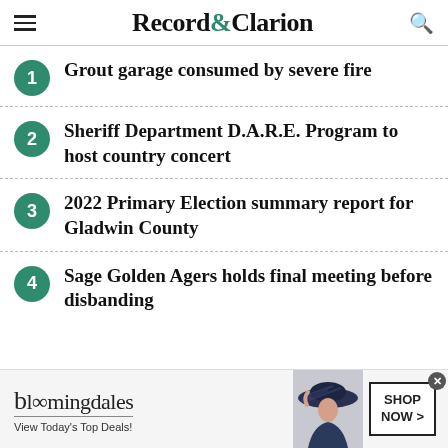Record&Clarion
Grout garage consumed by severe fire
Sheriff Department D.A.R.E. Program to host country concert
2022 Primary Election summary report for Gladwin County
Sage Golden Agers holds final meeting before disbanding
[Figure (illustration): Bloomingdale's advertisement banner showing logo, 'View Today's Top Deals!' tagline, a woman in a hat, and 'SHOP NOW >' button]